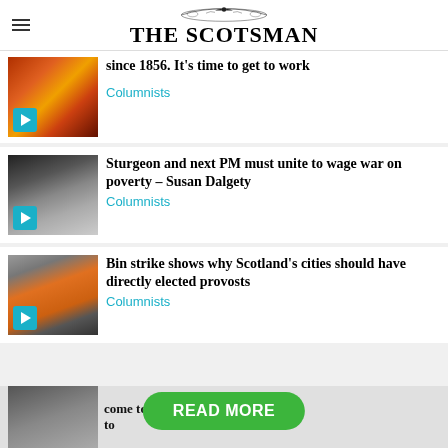THE SCOTSMAN
since 1856. It's time to get to work
Columnists
Sturgeon and next PM must unite to wage war on poverty – Susan Dalgety
Columnists
Bin strike shows why Scotland's cities should have directly elected provosts
Columnists
READ MORE
come together we can send a lifeto